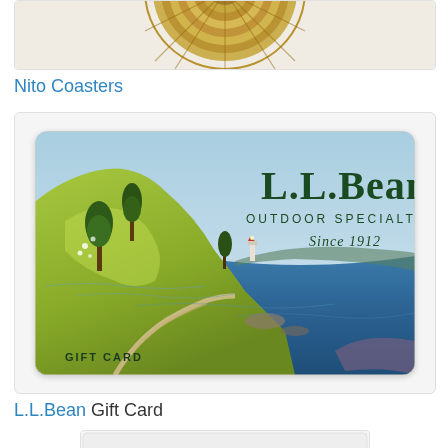[Figure (photo): Partial top image of Nito Coasters — woven circular coaster with golden/tan color, cropped at top]
Nito Coasters
[Figure (photo): L.L.Bean gift card showing coastal Maine scene with green hillside, blue ocean, lighthouse, and pine trees. Text reads: L.L.Bean OUTDOOR SPECIALTIES Since 1912 GIFT CARD]
L.L.Bean Gift Card
[Figure (photo): Partial bottom image, another product, cropped]